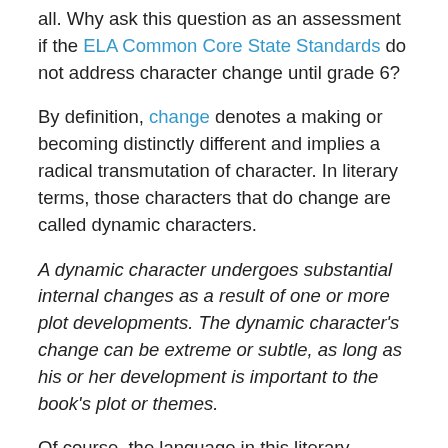all. Why ask this question as an assessment if the ELA Common Core State Standards do not address character change until grade 6?
By definition, change denotes a making or becoming distinctly different and implies a radical transmutation of character. In literary terms, those characters that do change are called dynamic characters.
A dynamic character undergoes substantial internal changes as a result of one or more plot developments. The dynamic character's change can be extreme or subtle, as long as his or her development is important to the book's plot or themes.
Of course, the language in this literary definition of a dynamic character is too high for elementary students K-3.